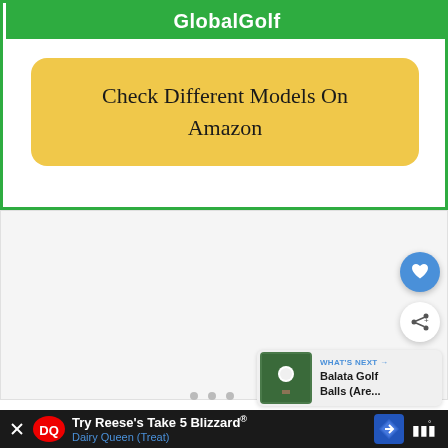GlobalGolf
Check Different Models On Amazon
[Figure (screenshot): Image carousel placeholder with gray background showing golf-related content]
[Figure (infographic): WHAT'S NEXT arrow: Balata Golf Balls (Are... with golf ball thumbnail]
[Figure (infographic): Advertisement bar: Try Reese's Take 5 Blizzard - Dairy Queen (Treat) with DQ logo and navigation icon]